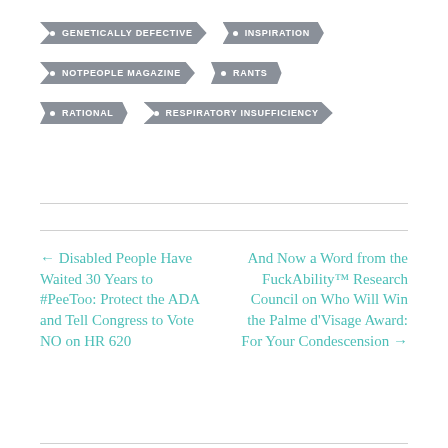• GENETICALLY DEFECTIVE
• INSPIRATION
• NOTPEOPLE MAGAZINE
• RANTS
• RATIONAL
• RESPIRATORY INSUFFICIENCY
← Disabled People Have Waited 30 Years to #PeeToo: Protect the ADA and Tell Congress to Vote NO on HR 620
And Now a Word from the FuckAbility™ Research Council on Who Will Win the Palme d'Visage Award: For Your Condescension →